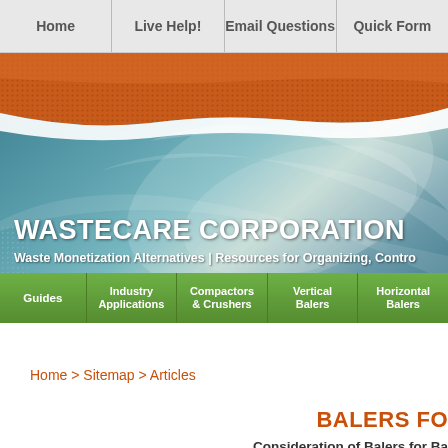Home | Live Help! | Email Questions | Quick Form
[Figure (screenshot): WasteCare Corporation website banner with orange wave at top, teal/blue swirling water background, white WASTECARE CORPORATION title text, subtitle 'Waste Monetization Alternatives | Resources for Organizing, Contro...' and green navigation bar with items: Guides, Industry Applications, Compactors & Crushers, Vertical Balers, Horizontal Balers]
Home > Sitemap > Articles
BALERS FO...
Consideration of Balers for Ba...